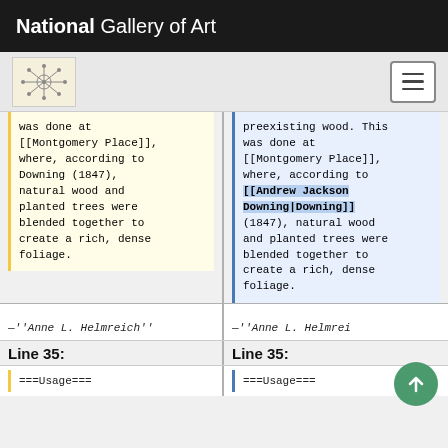National Gallery of Art
was done at [[Montgomery Place]], where, according to Downing (1847), natural wood and planted trees were blended together to create a rich, dense foliage.
preexisting wood. This was done at [[Montgomery Place]], where, according to [[Andrew Jackson Downing|Downing]] (1847), natural wood and planted trees were blended together to create a rich, dense foliage.
—''Anne L. Helmreich''
—''Anne L. Helmrei
Line 35:
Line 35:
===Usage===
===Usage===